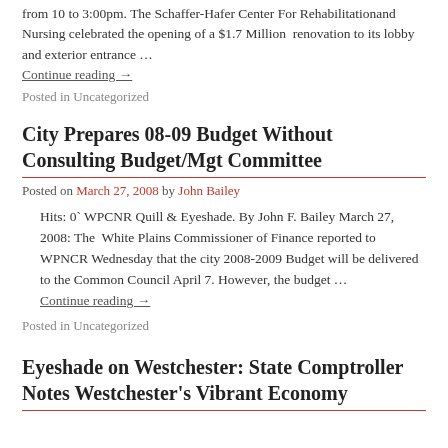from 10 to 3:00pm. The Schaffer-Hafer Center For Rehabilitationand Nursing celebrated the opening of a $1.7 Million renovation to its lobby and exterior entrance …
Continue reading →
Posted in Uncategorized
City Prepares 08-09 Budget Without Consulting Budget/Mgt Committee
Posted on March 27, 2008 by John Bailey
Hits: 0` WPCNR Quill & Eyeshade. By John F. Bailey March 27, 2008: The White Plains Commissioner of Finance reported to WPNCR Wednesday that the city 2008-2009 Budget will be delivered to the Common Council April 7. However, the budget …
Continue reading →
Posted in Uncategorized
Eyeshade on Westchester: State Comptroller Notes Westchester's Vibrant Economy